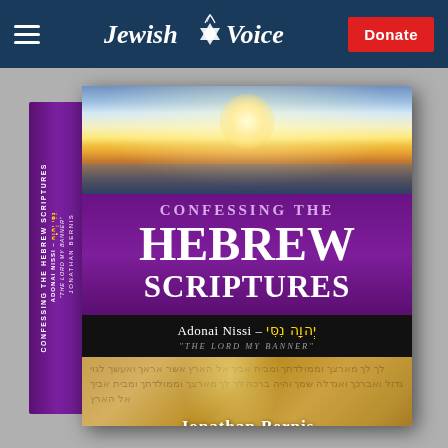Jewish Voice | Donate
[Figure (photo): Book cover of 'Confessing the Hebrew Scriptures — Adonai Nissi: The Lord My Banner' by Jonathan Bernis. The cover features a sunset over water at the top, a purple band with 'CONFESSING THE HEBREW SCRIPTURES' in large white text, a dark band with 'Adonai Nissi – יְהוָה נִסִּי' and '"THE LORD MY BANNER"', and a parchment-style bottom section showing a Hebrew manuscript with the author's name Jonathan Bernis. The book spine also shows the title and author name.]